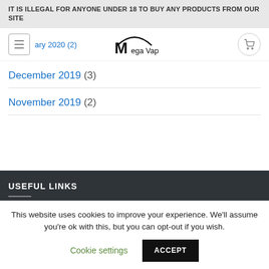IT IS ILLEGAL FOR ANYONE UNDER 18 TO BUY ANY PRODUCTS FROM OUR SITE
[Figure (logo): Mega Vape logo with stylized M and arc above text]
January 2020 (2)
December 2019 (3)
November 2019 (2)
USEFUL LINKS
This website uses cookies to improve your experience. We'll assume you're ok with this, but you can opt-out if you wish.
Cookie settings   ACCEPT